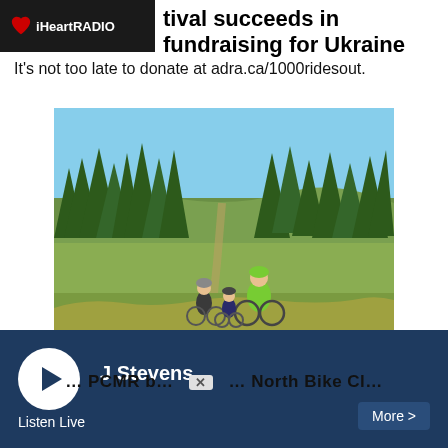iHeartRADIO
…tival succeeds in fundraising for Ukraine
It's not too late to donate at adra.ca/1000ridesout.
[Figure (photo): Three cyclists riding on a grassy trail through a hillside with conifer trees in the background under a blue sky.]
J Stevens
Listen Live
More >